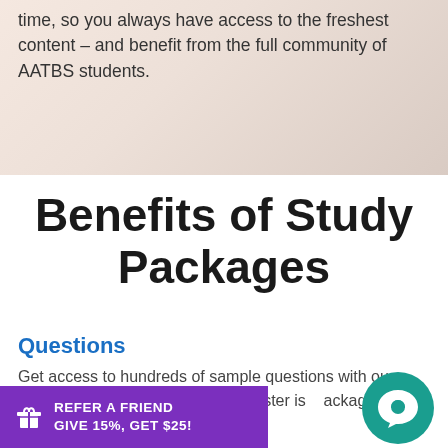time, so you always have access to the freshest content – and benefit from the full community of AATBS students.
Benefits of Study Packages
Questions
Get access to hundreds of sample questions with our assessment exam exams. TestMaster is ackages.
REFER A FRIEND GIVE 15%, GET $25!